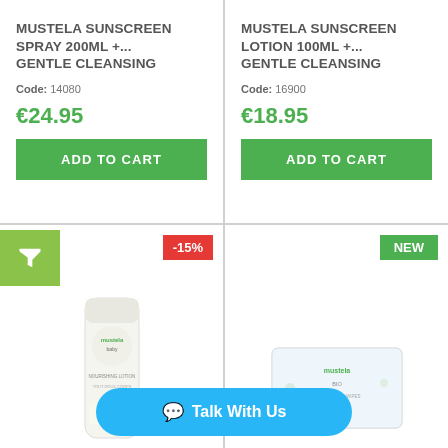MUSTELA SUNSCREEN SPRAY 200ML +... GENTLE CLEANSING
Code: 14080
€24.95
ADD TO CART
MUSTELA SUNSCREEN LOTION 100ML +... GENTLE CLEANSING
Code: 16900
€18.95
ADD TO CART
-15%
[Figure (photo): Mustela product tube - nourishing lotion]
NEW
[Figure (photo): Mustela baby wipes packet]
Talk With Us